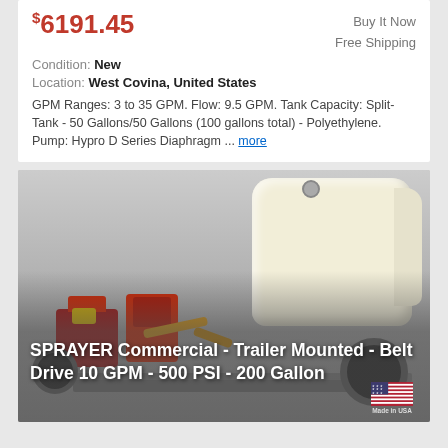$6191.45
Buy It Now
Free Shipping
Condition: New
Location: West Covina, United States
GPM Ranges: 3 to 35 GPM. Flow: 9.5 GPM. Tank Capacity: Split-Tank - 50 Gallons/50 Gallons (100 gallons total) - Polyethylene. Pump: Hypro D Series Diaphragm ... more
[Figure (photo): Commercial trailer-mounted belt drive sprayer with white polyethylene split tank, red Hypro D Series diaphragm pump, engine, and wheels. Caption text overlay reads: SPRAYER Commercial - Trailer Mounted - Belt Drive 10 GPM - 500 PSI - 200 Gallon. Made in USA badge in bottom right corner.]